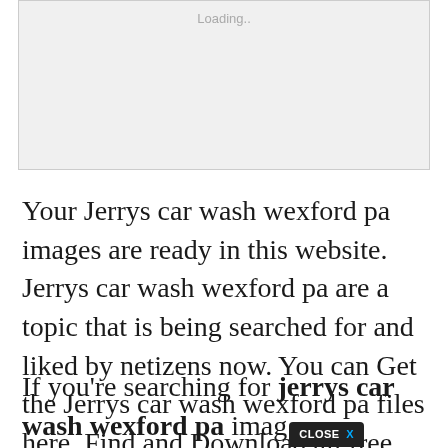[Figure (other): Ad placeholder box with 'Loading..' text]
Your Jerrys car wash wexford pa images are ready in this website. Jerrys car wash wexford pa are a topic that is being searched for and liked by netizens now. You can Get the Jerrys car wash wexford pa files here. Find and Download all free photos.
If you're searching for jerrys car wash wexford pa image [CLOSE X button overlay] nation linked to